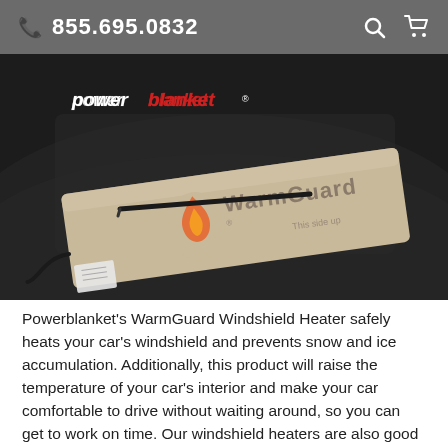855.695.0832
[Figure (photo): A Powerblanket WarmGuard windshield heater pad laid on the hood/windshield of a dark car. The beige/tan pad shows the WarmGuard logo with a flame icon. The Powerblanket logo appears in white and red script in the upper left of the image.]
Powerblanket's WarmGuard Windshield Heater safely heats your car's windshield and prevents snow and ice accumulation. Additionally, this product will raise the temperature of your car's interior and make your car comfortable to drive without waiting around, so you can get to work on time. Our windshield heaters are also good for the environment, by eliminating wasted gasoline and preventing exhaust emissions which pollute our air and contribute to